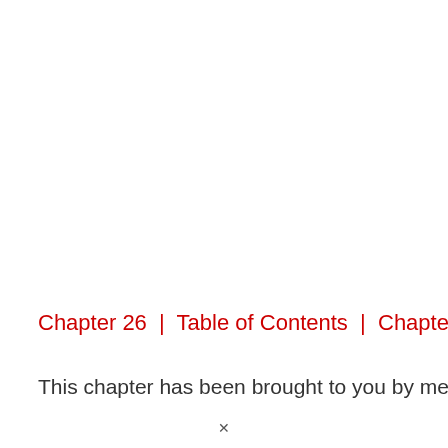Chapter 26 | Table of Contents | Chapter 28
This chapter has been brought to you by me and